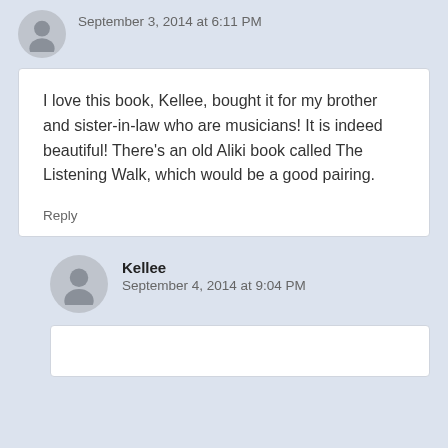September 3, 2014 at 6:11 PM
I love this book, Kellee, bought it for my brother and sister-in-law who are musicians! It is indeed beautiful! There’s an old Aliki book called The Listening Walk, which would be a good pairing.
Reply
Kellee
September 4, 2014 at 9:04 PM